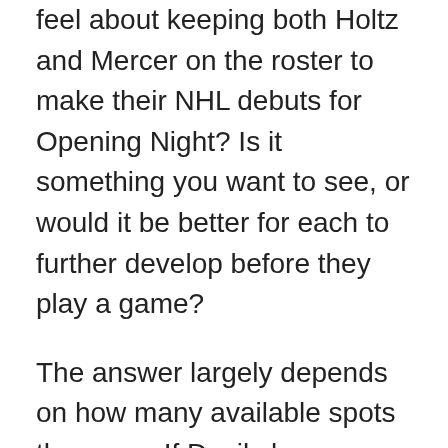feel about keeping both Holtz and Mercer on the roster to make their NHL debuts for Opening Night? Is it something you want to see, or would it be better for each to further develop before they play a game?
The answer largely depends on how many available spots there are. If Devils brass thinks they're ready, perhaps they can see what both Holtz and Mercer have in a few games. In a full 82-game schedule, NHL teams have up to nine games to decide if they should burn a year off their rookie entry level contracts. Most rebuilding clubs proceed with caution. But if one of the promising young guns proves ready, it's possible they could stay with the big club.
New Jersey made the big signing of top defenseman Dougie Hamilton to improve the roster. A great skating and puck possession player who can run the power play.